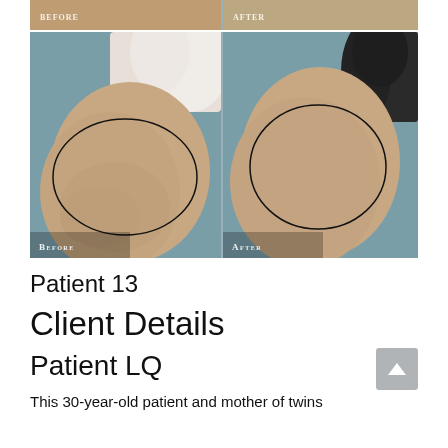[Figure (photo): Before and after photos of Patient 13 (Patient LQ) showing body contouring results. Two-panel comparison: left panel labeled 'Before' shows side view with excess tissue; right panel labeled 'After' shows improved contour. A partial strip of an upper before/after comparison is visible at the very top.]
Patient 13
Client Details
Patient LQ
This 30-year-old patient and mother of twins